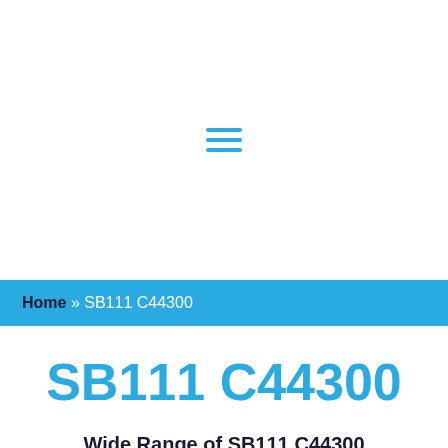[Figure (other): Hamburger menu icon (three horizontal blue lines) for navigation]
Home » SB111 C44300
SB111 C44300
Wide Range of SB111 C44300